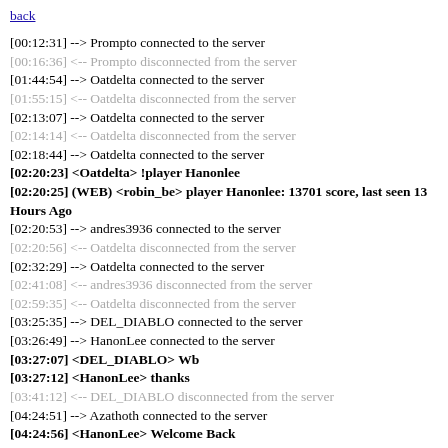back
[00:12:31] --> Prompto connected to the server
[00:16:36] <-- Prompto disconnected from the server
[01:44:54] --> Oatdelta connected to the server
[01:55:15] <-- Oatdelta disconnected from the server
[02:13:07] --> Oatdelta connected to the server
[02:14:14] <-- Oatdelta disconnected from the server
[02:18:44] --> Oatdelta connected to the server
[02:20:23] <Oatdelta> !player Hanonlee
[02:20:25] (WEB) <robin_be> player Hanonlee: 13701 score, last seen 13 Hours Ago
[02:20:53] --> andres3936 connected to the server
[02:20:56] <-- Oatdelta disconnected from the server
[02:32:29] --> Oatdelta connected to the server
[02:41:08] <-- andres3936 disconnected from the server
[02:59:35] <-- Oatdelta disconnected from the server
[03:25:35] --> DEL_DIABLO connected to the server
[03:26:49] --> HanonLee connected to the server
[03:27:07] <DEL_DIABLO> Wb
[03:27:12] <HanonLee> thanks
[03:41:12] <-- DEL_DIABLO disconnected from the server
[04:24:51] --> Azathoth connected to the server
[04:24:56] <HanonLee> Welcome Back
[04:25:06] <Azathoth> Thanks You!